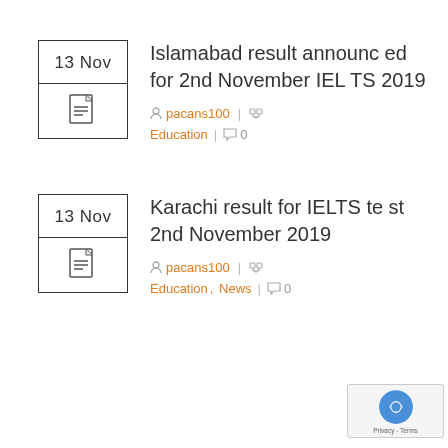[Figure (other): Date thumbnail box showing '13 Nov' with a document icon below, for article 1]
Islamabad result announced for 2nd November IELTS 2019
pacans100 | Education | 0 comments
[Figure (other): Date thumbnail box showing '13 Nov' with a document icon below, for article 2]
Karachi result for IELTS test 2nd November 2019
pacans100 | Education, News | 0 comments